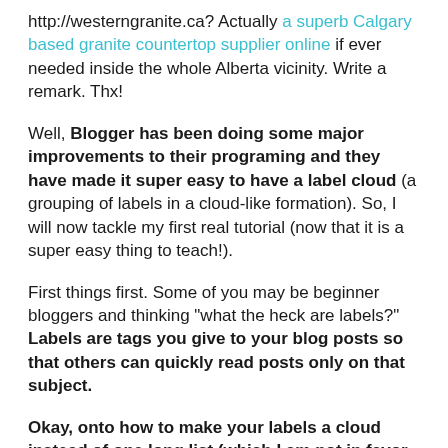http://westerngranite.ca? Actually a superb Calgary based granite countertop supplier online if ever needed inside the whole Alberta vicinity. Write a remark. Thx!
Well, Blogger has been doing some major improvements to their programing and they have made it super easy to have a label cloud (a grouping of labels in a cloud-like formation). So, I will now tackle my first real tutorial (now that it is a super easy thing to teach!).
First things first. Some of you may be beginner bloggers and thinking "what the heck are labels?" Labels are tags you give to your blog posts so that others can quickly read posts only on that subject.
Okay, onto how to make your labels a cloud instead of one long list (which I am not in favor of).
Sign into your Blogger account and go to the